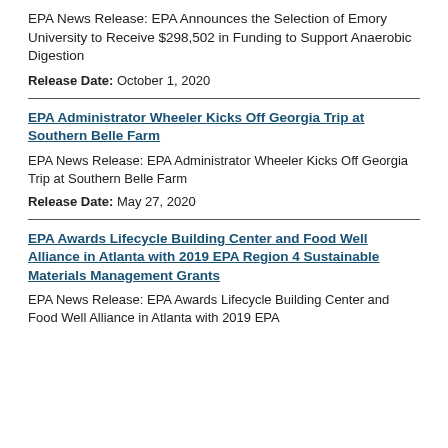EPA News Release: EPA Announces the Selection of Emory University to Receive $298,502 in Funding to Support Anaerobic Digestion
Release Date: October 1, 2020
EPA Administrator Wheeler Kicks Off Georgia Trip at Southern Belle Farm
EPA News Release: EPA Administrator Wheeler Kicks Off Georgia Trip at Southern Belle Farm
Release Date: May 27, 2020
EPA Awards Lifecycle Building Center and Food Well Alliance in Atlanta with 2019 EPA Region 4 Sustainable Materials Management Grants
EPA News Release: EPA Awards Lifecycle Building Center and Food Well Alliance in Atlanta with 2019 EPA